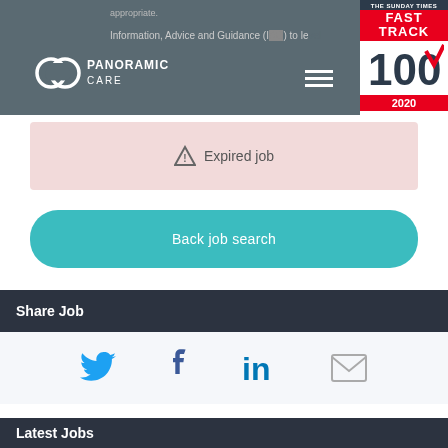appropriate. Information, Advice and Guidance (IAG) to levels appropriate.
[Figure (logo): Panoramic Care logo with two overlapping circles and text PANORAMIC CARE on teal/grey header background. The Sunday Times Fast Track 100 2020 badge (Virgin Atlantic) in top right corner.]
⚠ Expired job
Back job search
Share Job
[Figure (infographic): Social sharing icons: Twitter (bird, blue), Facebook (f, dark blue), LinkedIn (in, blue), Email (envelope, grey)]
Latest Jobs
Interim Head of Safeguarding- Education
South West England, England